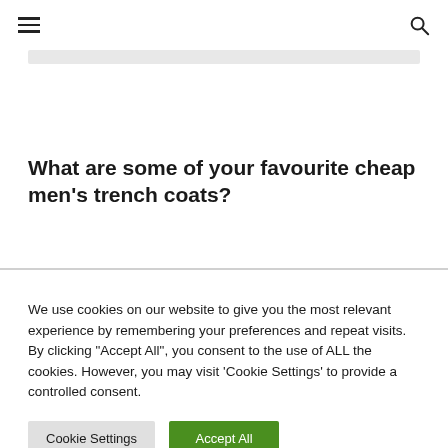☰  🔍
[Figure (other): Partial image bar / content placeholder]
What are some of your favourite cheap men's trench coats?
We use cookies on our website to give you the most relevant experience by remembering your preferences and repeat visits. By clicking "Accept All", you consent to the use of ALL the cookies. However, you may visit 'Cookie Settings' to provide a controlled consent.
Cookie Settings  Accept All